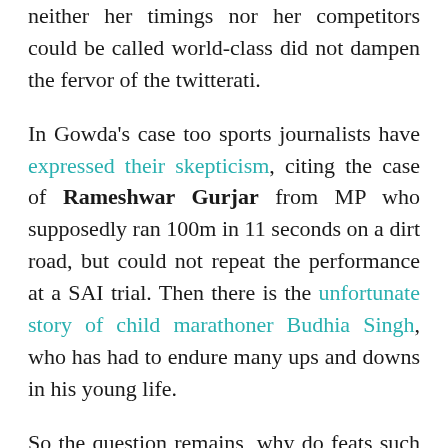neither her timings nor her competitors could be called world-class did not dampen the fervor of the twitterati.
In Gowda's case too sports journalists have expressed their skepticism, citing the case of Rameshwar Gurjar from MP who supposedly ran 100m in 11 seconds on a dirt road, but could not repeat the performance at a SAI trial. Then there is the unfortunate story of child marathoner Budhia Singh, who has had to endure many ups and downs in his young life.
So the question remains, why do feats such as Gowda's generate so much hype while